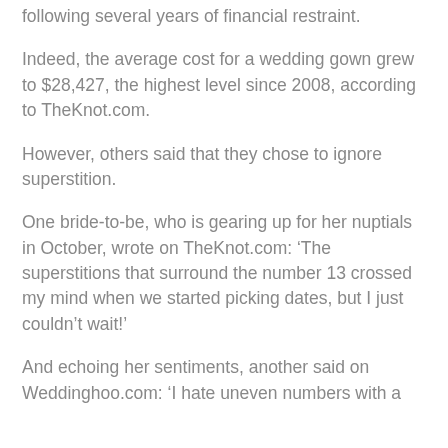following several years of financial restraint.
Indeed, the average cost for a wedding gown grew to $28,427, the highest level since 2008, according to TheKnot.com.
However, others said that they chose to ignore superstition.
One bride-to-be, who is gearing up for her nuptials in October, wrote on TheKnot.com: ‘The superstitions that surround the number 13 crossed my mind when we started picking dates, but I just couldn’t wait!’
And echoing her sentiments, another said on Weddinghoo.com: ‘I hate uneven numbers with a